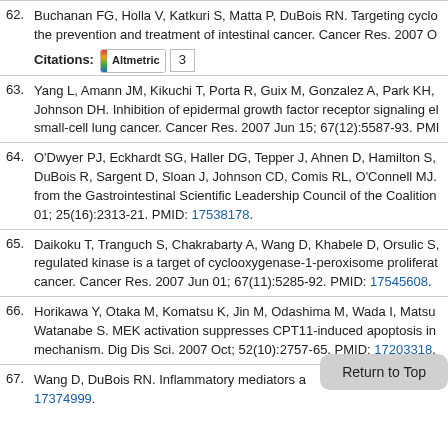62. Buchanan FG, Holla V, Katkuri S, Matta P, DuBois RN. Targeting cyclo... the prevention and treatment of intestinal cancer. Cancer Res. 2007 O... Citations: [Altmetric] 3
63. Yang L, Amann JM, Kikuchi T, Porta R, Guix M, Gonzalez A, Park KH, Johnson DH. Inhibition of epidermal growth factor receptor signaling el... small-cell lung cancer. Cancer Res. 2007 Jun 15; 67(12):5587-93. PMI...
64. O'Dwyer PJ, Eckhardt SG, Haller DG, Tepper J, Ahnen D, Hamilton S, DuBois R, Sargent D, Sloan J, Johnson CD, Comis RL, O'Connell MJ. from the Gastrointestinal Scientific Leadership Council of the Coalition 01; 25(16):2313-21. PMID: 17538178.
65. Daikoku T, Tranguch S, Chakrabarty A, Wang D, Khabele D, Orsulic S, regulated kinase is a target of cyclooxygenase-1-peroxisome proliferat... cancer. Cancer Res. 2007 Jun 01; 67(11):5285-92. PMID: 17545608.
66. Horikawa Y, Otaka M, Komatsu K, Jin M, Odashima M, Wada I, Matsu... Watanabe S. MEK activation suppresses CPT11-induced apoptosis in mechanism. Dig Dis Sci. 2007 Oct; 52(10):2757-65. PMID: 17203318.
67. Wang D, DuBois RN. Inflammatory mediators a... or sig... PMID: 17374999.